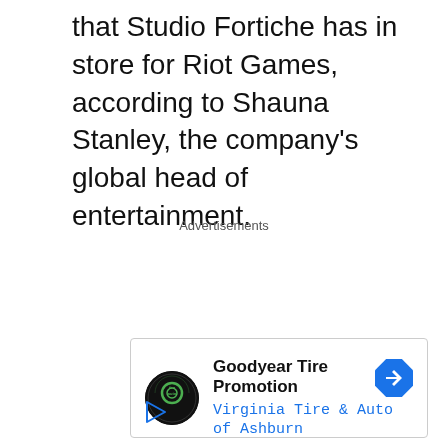that Studio Fortiche has in store for Riot Games, according to Shauna Stanley, the company's global head of entertainment.
Advertisements
[Figure (other): Advertisement banner for Goodyear Tire Promotion by Virginia Tire & Auto of Ashburn, with logo, navigation arrow icon, and play button icon.]